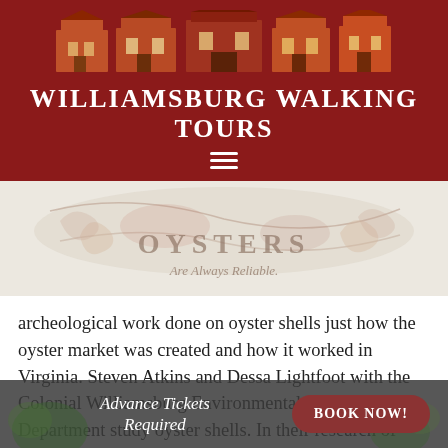[Figure (logo): Williamsburg Walking Tours logo with illustrated colonial buildings and site title text]
[Figure (illustration): Vintage oyster advertisement illustration with text 'OYSTERS Are Always Reliable.']
archeological work done on oyster shells just how the oyster market was created and how it worked in Virginia. Steven Atkins and Dessa Lightfoot with the Colonial Williamsburg Environmental Archeology Department study oyster shells. In their research of mounds of 18th century discarded oyster shells they
Advance Tickets Required
BOOK NOW!